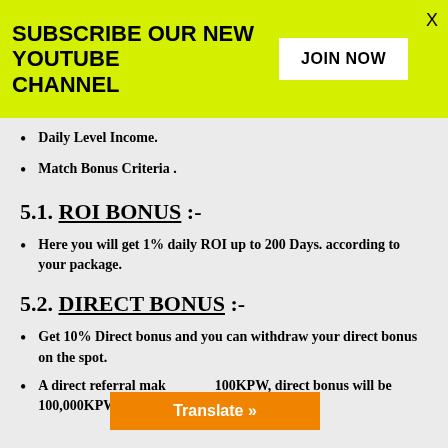SUBSCRIBE OUR NEW YOUTUBE CHANNEL | JOIN NOW | X
Daily Level Income.
Match Bonus Criteria .
5.1. ROI BONUS :-
Here you will get 1% daily ROI up to 200 Days. according to your package.
5.2. DIRECT BONUS :-
Get 10% Direct bonus and you can withdraw your direct bonus on the spot.
A direct referral mak...100KPW, direct bonus will be 100,000KPW